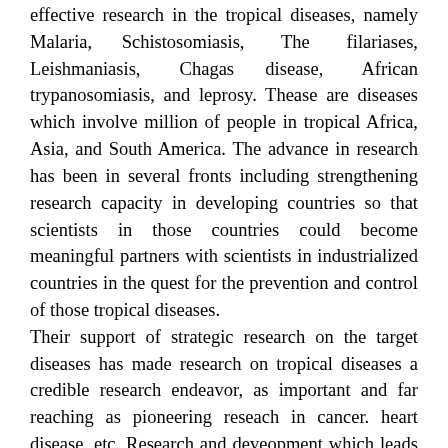effective research in the tropical diseases, namely Malaria, Schistosomiasis, The filariases, Leishmaniasis, Chagas disease, African trypanosomiasis, and leprosy. Thease are diseases which involve million of people in tropical Africa, Asia, and South America. The advance in research has been in several fronts including strengthening research capacity in developing countries so that scientists in those countries could become meaningful partners with scientists in industrialized countries in the quest for the prevention and control of those tropical diseases. Their support of strategic research on the target diseases has made research on tropical diseases a credible research endeavor, as important and far reaching as pioneering reseach in cancer. heart disease, etc. Research and deveopment which leads to specific tools such as vaccines and drugs, features